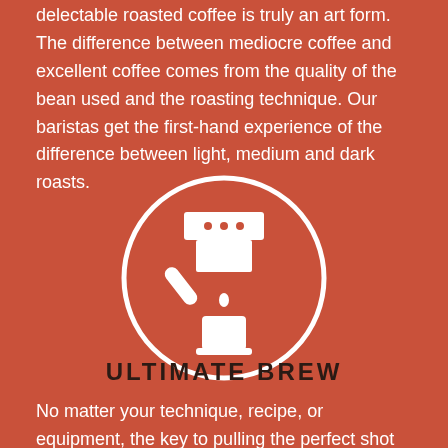delectable roasted coffee is truly an art form. The difference between mediocre coffee and excellent coffee comes from the quality of the bean used and the roasting technique. Our baristas get the first-hand experience of the difference between light, medium and dark roasts.
[Figure (illustration): White circle outline containing a white icon of an espresso machine portafilter brewing into a cup, with three dots on the machine head, on a terracotta/rust background]
ULTIMATE BREW
No matter your technique, recipe, or equipment, the key to pulling the perfect shot is consistency. The ideal espresso extraction time is between 20 and 30 seconds